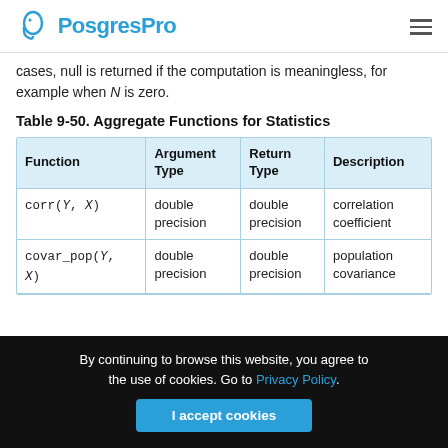PostgresPro
cases, null is returned if the computation is meaningless, for example when N is zero.
Table 9-50. Aggregate Functions for Statistics
| Function | Argument Type | Return Type | Description |
| --- | --- | --- | --- |
| corr(Y, X) | double precision | double precision | correlation coefficient |
| covar_pop(Y, X) | double precision | double precision | population covariance |
By continuing to browse this website, you agree to the use of cookies. Go to Privacy Policy.